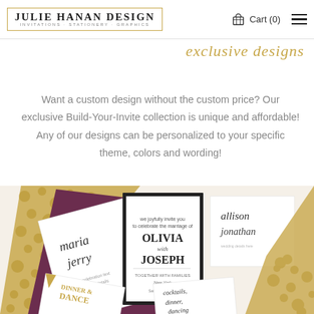JULIE HANAN DESIGN — INVITATIONS, STATIONERY, GRAPHICS — Cart (0)
exclusive designs
Want a custom design without the custom price? Our exclusive Build-Your-Invite collection is unique and affordable! Any of our designs can be personalized to your specific theme, colors and wording!
[Figure (photo): A collage of wedding invitation suite samples showing various designs including named cards for 'Olivia & Joseph', 'allison & jonathan', 'maria & jerry', and cards reading 'cocktails, dinner, dancing' and 'DINNER & DANCE', displayed on a gold-glitter and dark purple/maroon background.]